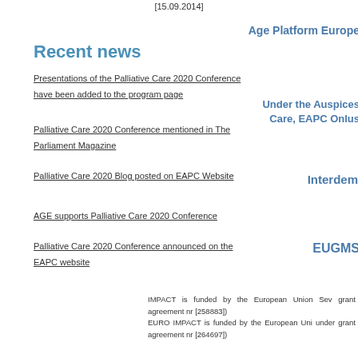[15.09.2014]
Age Platform Europe
Recent news
Presentations of the Palliative Care 2020 Conference have been added to the program page
Under the Auspices Care, EAPC Onlus
Palliative Care 2020 Conference mentioned in The Parliament Magazine
Interdem
Palliative Care 2020 Blog posted on EAPC Website
AGE supports Palliative Care 2020 Conference
EUGMS
Palliative Care 2020 Conference announced on the EAPC website
IMPACT is funded by the European Union Sev grant agreement nr [258883])
EURO IMPACT is funded by the European Uni under grant agreement nr [264697])